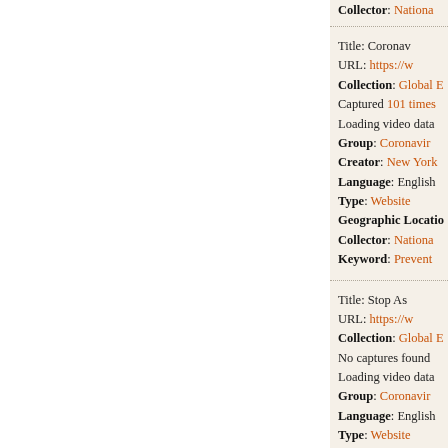Collector: National...
Title: Coronav... URL: https://w... Collection: Global... Captured 101 times Loading video data Group: Coronavir... Creator: New York... Language: English Type: Website Geographic Locatio... Collector: Nationa... Keyword: Prevent...
Title: Stop As... URL: https://w... Collection: Global... No captures found Loading video data Group: Coronavir... Language: English Type: Website Collector: Na...